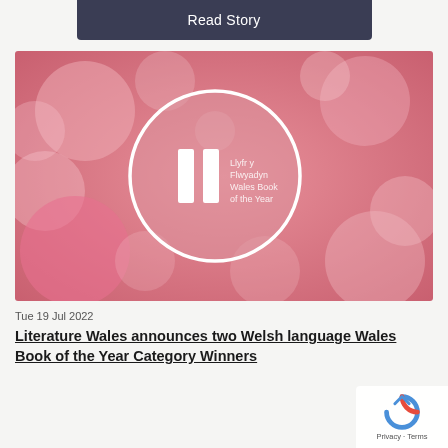Read Story
[Figure (logo): Wales Book of the Year logo - white circle with two vertical bars and text 'Llyfr y Flwyadyn Wales Book of the Year' on a pink bokeh background]
Tue 19 Jul 2022
Literature Wales announces two Welsh language Wales Book of the Year Category Winners